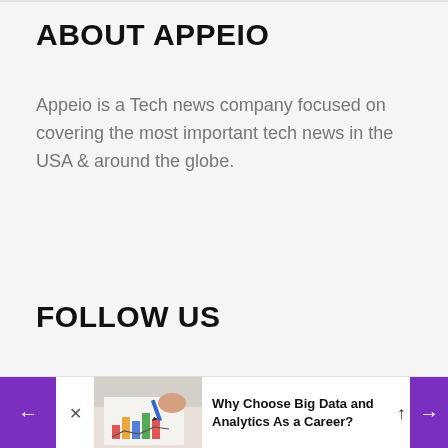ABOUT APPEIO
Appeio is a Tech news company focused on covering the most important tech news in the USA & around the globe.
FOLLOW US
[Figure (photo): Article thumbnail showing a hand holding a pen over charts and graphs on paper]
Why Choose Big Data and Analytics As a Career?